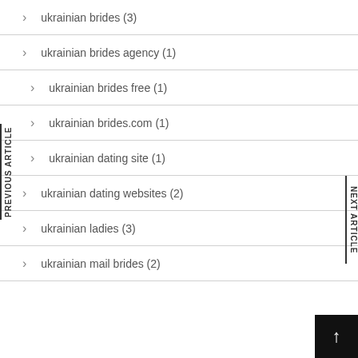ukrainian brides (3)
ukrainian brides agency (1)
ukrainian brides free (1)
ukrainian brides.com (1)
ukrainian dating site (1)
ukrainian dating websites (2)
ukrainian ladies (3)
ukrainian mail brides (2)